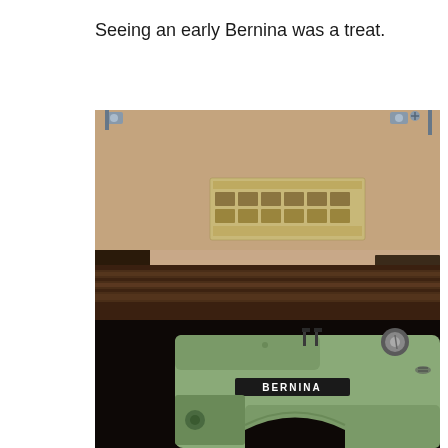Seeing an early Bernina was a treat.
[Figure (photo): Close-up photograph of an early Bernina sewing machine in its wooden carrying case. The machine is pale green/sage colored with 'BERNINA' branding visible on a dark badge. The open case lid reveals a tan/beige interior with a stitch pattern label. The machine shows knobs and controls on the right side. Dark brown molded case edges are prominent in the middle of the image.]